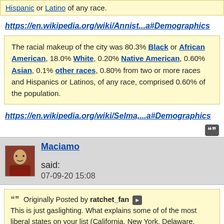Hispanic or Latino of any race.
https://en.wikipedia.org/wiki/Annist...a#Demographics
The racial makeup of the city was 80.3% Black or African American, 18.0% White, 0.20% Native American, 0.60% Asian, 0.1% other races, 0.80% from two or more races and Hispanics or Latinos, of any race, comprised 0.60% of the population.
https://en.wikipedia.org/wiki/Selma,...a#Demographics
Maciamo said: 07-09-20 15:08
Originally Posted by ratchet_fan
This is just gaslighting. What explains some of of the most liberal states on your list (California, New York, Delaware, Maryland, New Mexico, Illinois) and